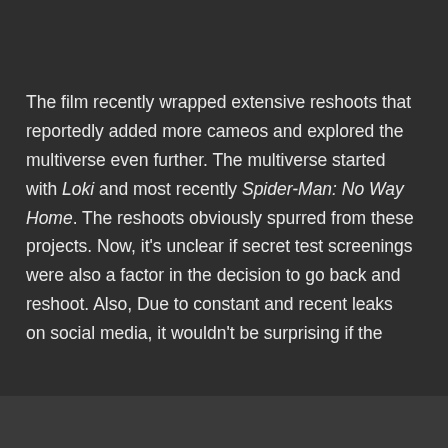The film recently wrapped extensive reshoots that reportedly added more cameos and explored the multiverse even further. The multiverse started with Loki and most recently Spider-Man: No Way Home. The reshoots obviously spurred from these projects. Now, it's unclear if secret test screenings were also a factor in the decision to go back and reshoot. Also, Due to constant and recent leaks on social media, it wouldn't be surprising if the